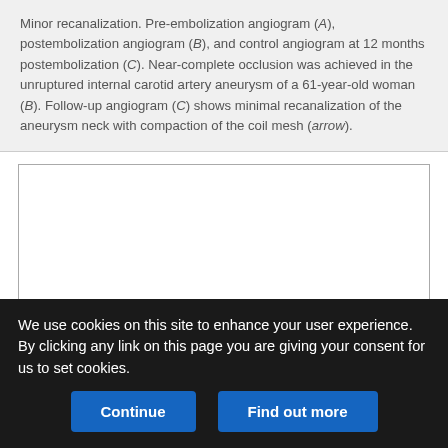Minor recanalization. Pre-embolization angiogram (A), postembolization angiogram (B), and control angiogram at 12 months postembolization (C). Near-complete occlusion was achieved in the unruptured internal carotid artery aneurysm of a 61-year-old woman (B). Follow-up angiogram (C) shows minimal recanalization of the aneurysm neck with compaction of the coil mesh (arrow).
[Figure (photo): Medical angiogram images (blank/white placeholder visible in document)]
We use cookies on this site to enhance your user experience. By clicking any link on this page you are giving your consent for us to set cookies.